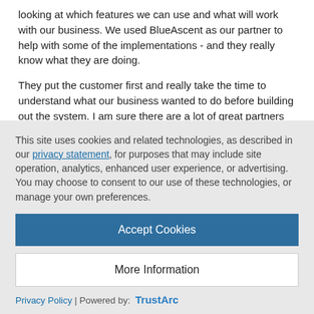looking at which features we can use and what will work with our business. We used BlueAscent as our partner to help with some of the implementations - and they really know what they are doing.
They put the customer first and really take the time to understand what our business wanted to do before building out the system. I am sure there are a lot of great partners out there -- but Sprouts couldnt be more happy with BlueAscent.
Like 0  |  Share
This site uses cookies and related technologies, as described in our privacy statement, for purposes that may include site operation, analytics, enhanced user experience, or advertising. You may choose to consent to our use of these technologies, or manage your own preferences.
Accept Cookies
More Information
Privacy Policy | Powered by: TrustArc